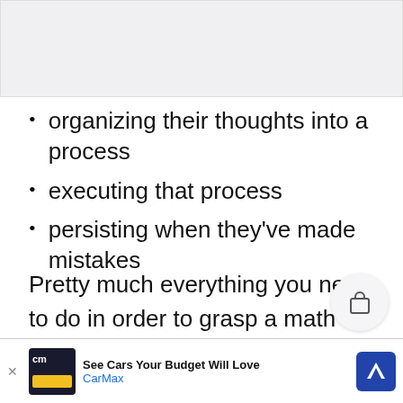[Figure (other): Partially visible image or content area at the top of the page, showing a light gray/white background section.]
organizing their thoughts into a process
executing that process
persisting when they've made mistakes
Pretty much everything you need to do in order to grasp a math concept, right? You need to learn the steps, perform them IN ORDER, and take the time to check